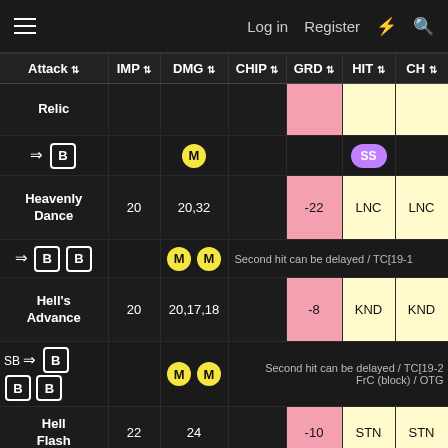Log in  Register  ⚡  🔍
| Attack | IMP | DMG | CHIP | GRD | HIT | CH |
| --- | --- | --- | --- | --- | --- | --- |
| Relic |  |  |  |  |  |  |
| → B |  | M |  |  | SS |  |
| Heavenly Dance | 20 | 20,32 |  | -22 | LNC | LNC |
| → B B |  | M M | Second hit can be delayed / TC[19-1 |  |  |  |
| Hell's Advance | 20 | 20,17,18 |  | -8 | KND | KND |
| SB → B B B |  | M M | Second hit can be delayed / TC[19-2  FrC (block) / OTG |  |  |  |
| Hell Flash | 22 | 24 |  | -10 | STN | STN |